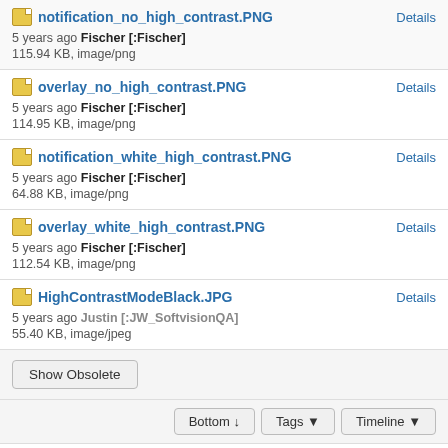notification_no_high_contrast.PNG — Details — 5 years ago Fischer [:Fischer] — 115.94 KB, image/png
overlay_no_high_contrast.PNG — Details — 5 years ago Fischer [:Fischer] — 114.95 KB, image/png
notification_white_high_contrast.PNG — Details — 5 years ago Fischer [:Fischer] — 64.88 KB, image/png
overlay_white_high_contrast.PNG — Details — 5 years ago Fischer [:Fischer] — 112.54 KB, image/png
HighContrastModeBlack.JPG — Details — 5 years ago Justin [:JW_SoftvisionQA] — 55.40 KB, image/jpeg
Show Obsolete
Bottom ↓   Tags ▼   Timeline ▼
Verdi [:verdi] Best to slack me  Reporter — Description • 5 years ago